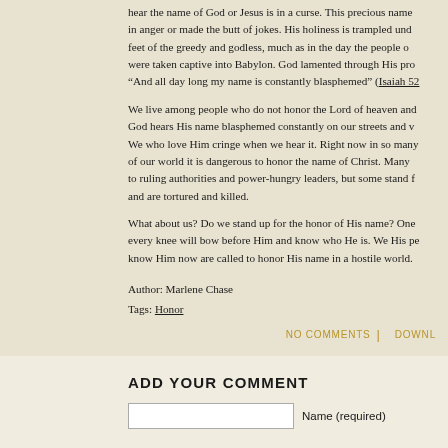hear the name of God or Jesus is in a curse. This precious name... in anger or made the butt of jokes. His holiness is trampled und... feet of the greedy and godless, much as in the day the people of... were taken captive into Babylon. God lamented through His pro... "And all day long my name is constantly blasphemed" (Isaiah 52...
We live among people who do not honor the Lord of heaven and... God hears His name blasphemed constantly on our streets and vi... We who love Him cringe when we hear it. Right now in so many... of our world it is dangerous to honor the name of Christ. Many... to ruling authorities and power-hungry leaders, but some stand f... and are tortured and killed.
What about us? Do we stand up for the honor of His name? One... every knee will bow before Him and know who He is. We His pe... know Him now are called to honor His name in a hostile world.
Author: Marlene Chase
Tags: Honor
NO COMMENTS | DOWNL...
ADD YOUR COMMENT
Name (required)